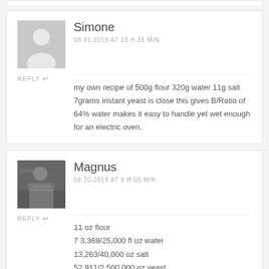Simone
08.31.2019 AT 13 H 31 MIN
my own recipe of 500g flour 320g water 11g salt 7grams instant yeast is close this gives B/Ratio of 64% water makes it easy to handle yet wet enough for an electric oven.
Magnus
09.20.2019 AT 8 H 05 MIN
11 oz flour
7 3,369/25,000 fl oz water
13,263/40,000 oz salt
52,911/2,500,000 oz yeast.
That is just not a handy way to express things. 😬